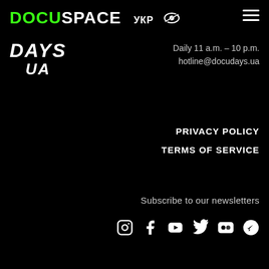DOCUSPACE УКР [eye icon] [hamburger menu]
[Figure (logo): DAYS UA logo in bold italic white text]
Daily 11 a.m. – 10 p.m.
hotline@docudays.ua
PRIVACY POLICY
TERMS OF SERVICE
Subscribe to our newsletters
[Figure (infographic): Social media icons: Instagram, Facebook, YouTube, Twitter, Flickr, Telegram]